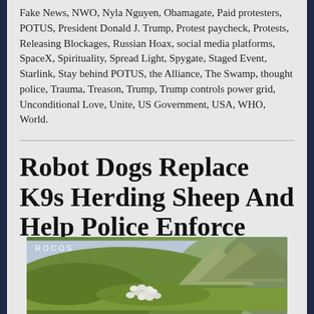Fake News, NWO, Nyla Nguyen, Obamagate, Paid protesters, POTUS, President Donald J. Trump, Protest paycheck, Protests, Releasing Blockages, Russian Hoax, social media platforms, SpaceX, Spirituality, Spread Light, Spygate, Staged Event, Starlink, Stay behind POTUS, the Alliance, The Swamp, thought police, Trauma, Treason, Trump, Trump controls power grid, Unconditional Love, Unite, US Government, USA, WHO, World.
Robot Dogs Replace K9s Herding Sheep And Help Police Enforce Social Distancing — Activist Post – May 28, 2020
[Figure (photo): Outdoor landscape photo showing a hillside with a flock of sheep being herded. 'ROCOS' watermark visible in upper left corner. Green hills and mountains visible in background.]